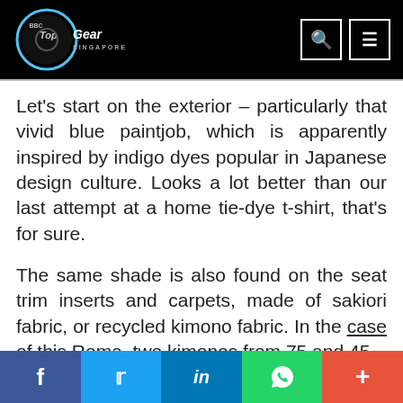BBC Top Gear Singapore
Let’s start on the exterior – particularly that vivid blue paintjob, which is apparently inspired by indigo dyes popular in Japanese design culture. Looks a lot better than our last attempt at a home tie-dye t-shirt, that’s for sure.
The same shade is also found on the seat trim inserts and carpets, made of sakiori fabric, or recycled kimono fabric. In the case of this Roma, two kimonos from 75 and 45 years ago respectively were used. Vintage
Facebook | Twitter | LinkedIn | WhatsApp | More